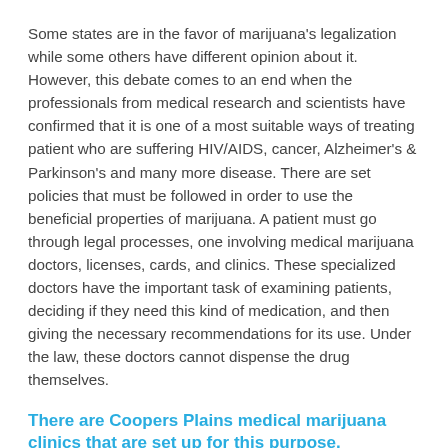Some states are in the favor of marijuana's legalization while some others have different opinion about it. However, this debate comes to an end when the professionals from medical research and scientists have confirmed that it is one of a most suitable ways of treating patient who are suffering HIV/AIDS, cancer, Alzheimer's & Parkinson's and many more disease. There are set policies that must be followed in order to use the beneficial properties of marijuana. A patient must go through legal processes, one involving medical marijuana doctors, licenses, cards, and clinics. These specialized doctors have the important task of examining patients, deciding if they need this kind of medication, and then giving the necessary recommendations for its use. Under the law, these doctors cannot dispense the drug themselves.
There are Coopers Plains medical marijuana clinics that are set up for this purpose.
Get a diagnosis from your own doctor regarding your illness (as in Doctor, allow the use of this alternative medicine).